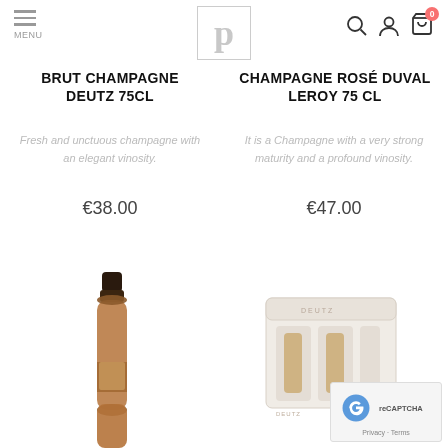MENU / Logo / Search / Account / Cart (0)
BRUT CHAMPAGNE DEUTZ 75CL
Fresh and unctuous champagne with an elegant vinosity.
€38.00
CHAMPAGNE ROSÉ DUVAL LEROY 75 CL
It is a Champagne with a very strong maturity and a profound vinosity.
€47.00
[Figure (photo): Champagne bottle with dark foil top]
[Figure (photo): White gift box set with champagne bottles, labeled DEUTZ]